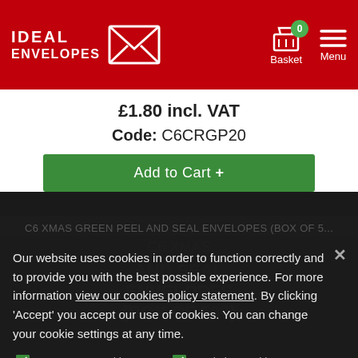IDEAL ENVELOPES — Basket 0 — Menu
£1.80 incl. VAT
Code: C6CRGP20
Add to Cart +
Our website uses cookies in order to function correctly and to provide you with the best possible experience. For more information view our cookies policy statement. By clicking 'Accept' you accept our use of cookies. You can change your cookie settings at any time.
C6 XMAS
Necessary Cookies Required  Analytics cookies
ACCEPT ✓   AND SEAL ENVELOPES (BOX OF 500)   Show details ∨